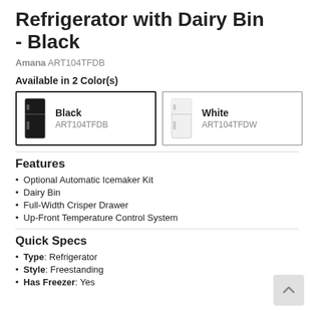Refrigerator with Dairy Bin - Black
Amana ART104TFDB
Available in 2 Color(s)
[Figure (other): Two color option cards: Black (ART104TFDB) selected, White (ART104TFDW)]
Features
Optional Automatic Icemaker Kit
Dairy Bin
Full-Width Crisper Drawer
Up-Front Temperature Control System
Quick Specs
Type: Refrigerator
Style: Freestanding
Has Freezer: Yes